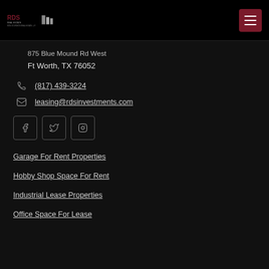RDS Real Estate | Ron Sturgeon Real Estate, LP
875 Blue Mound Rd West
Ft Worth, TX 76052
(817) 439-3224
leasing@rdsinvestments.com
Garage For Rent Properties
Hobby Shop Space For Rent
Industrial Lease Properties
Office Space For Lease